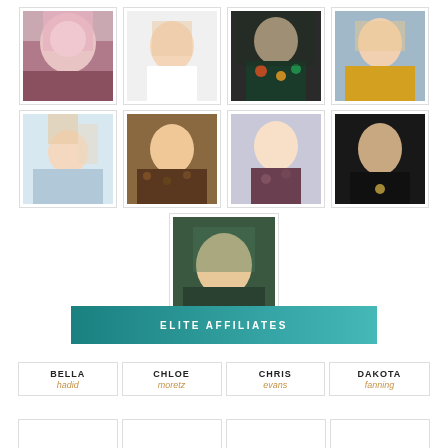[Figure (photo): Grid of 9 portrait photos of women, arranged in 2 rows of 4 plus 1 centered below]
ELITE AFFILIATES
| BELLA hadid | CHLOE moretz | CHRIS evans | DAKOTA fanning |
| --- | --- | --- | --- |
|  |  |  |  |